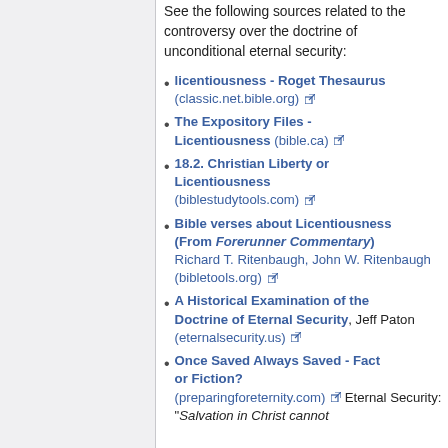See the following sources related to the controversy over the doctrine of unconditional eternal security:
licentiousness - Roget Thesaurus (classic.net.bible.org)
The Expository Files - Licentiousness (bible.ca)
18.2. Christian Liberty or Licentiousness (biblestudytools.com)
Bible verses about Licentiousness (From Forerunner Commentary) Richard T. Ritenbaugh, John W. Ritenbaugh (bibletools.org)
A Historical Examination of the Doctrine of Eternal Security, Jeff Paton (eternalsecurity.us)
Once Saved Always Saved - Fact or Fiction? (preparingforeternity.com) Eternal Security: "Salvation in Christ cannot